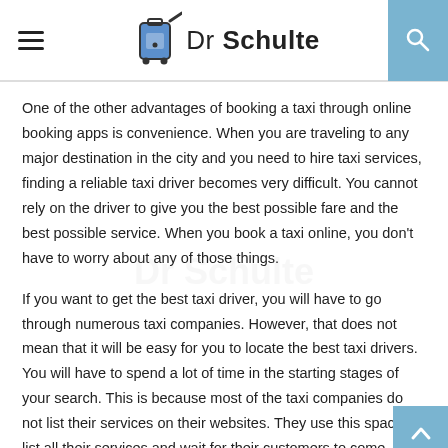Dr Schulte
One of the other advantages of booking a taxi through online booking apps is convenience. When you are traveling to any major destination in the city and you need to hire taxi services, finding a reliable taxi driver becomes very difficult. You cannot rely on the driver to give you the best possible fare and the best possible service. When you book a taxi online, you don't have to worry about any of those things.
If you want to get the best taxi driver, you will have to go through numerous taxi companies. However, that does not mean that it will be easy for you to locate the best taxi drivers. You will have to spend a lot of time in the starting stages of your search. This is because most of the taxi companies do not list their services on their websites. They use this space to list all their services and wait for their customers to come.